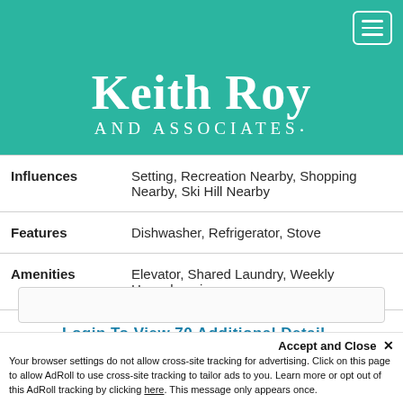[Figure (logo): Keith Roy and Associates teal header logo with hamburger menu button]
| Influences | Setting, Recreation Nearby, Shopping Nearby, Ski Hill Nearby |
| Features | Dishwasher, Refrigerator, Stove |
| Amenities | Elevator, Shared Laundry, Weekly Housekeeping |
Login To View 70 Additional Detail…
Accept and Close ✕
Your browser settings do not allow cross-site tracking for advertising. Click on this page to allow AdRoll to use cross-site tracking to tailor ads to you. Learn more or opt out of this AdRoll tracking by clicking here. This message only appears once.